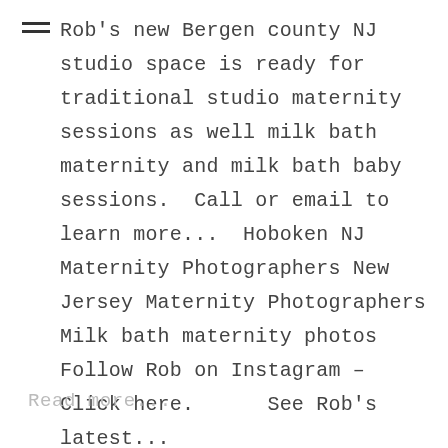Rob's new Bergen county NJ studio space is ready for traditional studio maternity sessions as well milk bath maternity and milk bath baby sessions.  Call or email to learn more...  Hoboken NJ Maternity Photographers New Jersey Maternity Photographers Milk bath maternity photos   Follow Rob on Instagram – Click here.      See Rob's latest...
Read more...